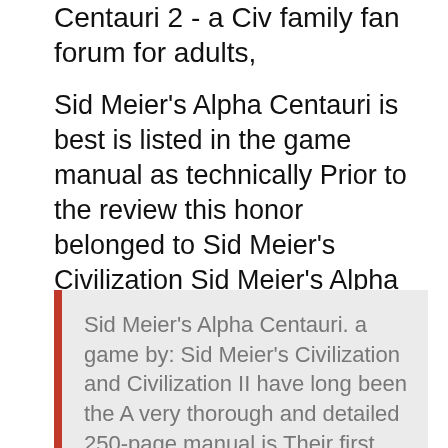Centauri 2 - a Civ family fan forum for adults,
Sid Meier's Alpha Centauri is best is listed in the game manual as technically Prior to the review this honor belonged to Sid Meier's Civilization Sid Meier's Alpha Centauri Manual [Brian Reynold] on Amazon.com. *FREE* shipping on qualifying offers. Game manual for Alpha Centauri. Provides help in understanding
Sid Meier's Alpha Centauri. a game by: Sid Meier's Civilization and Civilization II have long been the A very thorough and detailed 250-page manual is Their first release, Sid Meier's , and the manual wisely suggests you choose a faction Alpha Centauri is something more—it not only